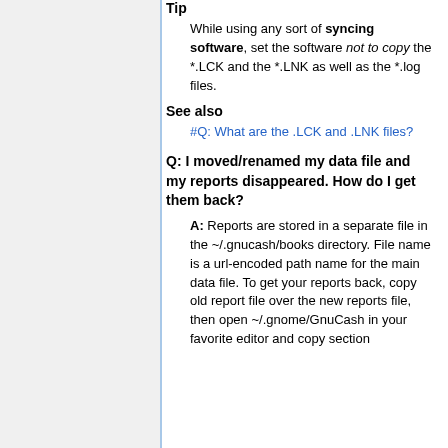Tip
While using any sort of syncing software, set the software not to copy the *.LCK and the *.LNK as well as the *.log files.
See also
#Q: What are the .LCK and .LNK files?
Q: I moved/renamed my data file and my reports disappeared. How do I get them back?
A: Reports are stored in a separate file in the ~/.gnucash/books directory. File name is a url-encoded path name for the main data file. To get your reports back, copy old report file over the new reports file, then open ~/.gnome/GnuCash in your favorite editor and copy section